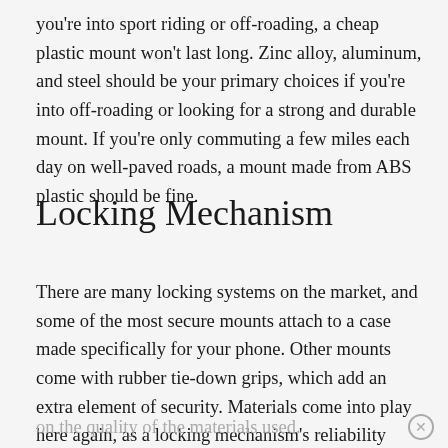you're into sport riding or off-roading, a cheap plastic mount won't last long. Zinc alloy, aluminum, and steel should be your primary choices if you're into off-roading or looking for a strong and durable mount. If you're only commuting a few miles each day on well-paved roads, a mount made from ABS plastic should be fine.
Locking Mechanism
There are many locking systems on the market, and some of the most secure mounts attach to a case made specifically for your phone. Other mounts come with rubber tie-down grips, which add an extra element of security. Materials come into play here again, as a locking mechanism's reliability depends on the quality of the materials used.